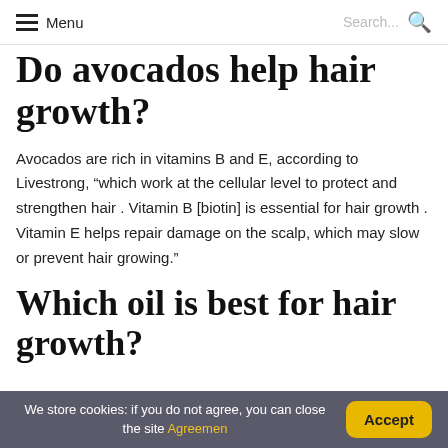Menu  Search...
Do avocados help hair growth?
Avocados are rich in vitamins B and E, according to Livestrong, “which work at the cellular level to protect and strengthen hair . Vitamin B [biotin] is essential for hair growth . Vitamin E helps repair damage on the scalp, which may slow or prevent hair growing.”
Which oil is best for hair growth?
We store cookies: if you do not agree, you can close the site Agreemen